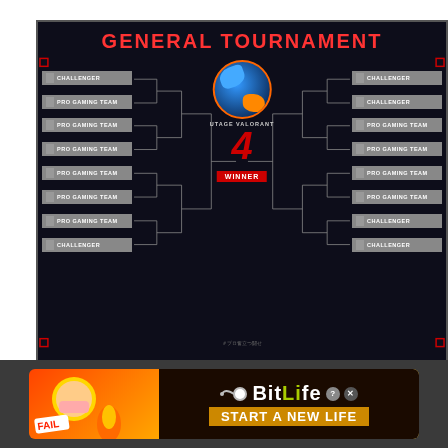[Figure (infographic): General Tournament bracket for UTAGE VALORANT event showing 16 teams on left and right sides with bracket lines leading to a center logo, winner number 4, and WINNER badge. Left teams: CHALLENGER, PRO GAMING TEAM x5, CHALLENGER. Right teams: CHALLENGER x2, PRO GAMING TEAM x4, CHALLENGER x2.]
[Figure (infographic): BitLife advertisement banner with red/orange fire background, a cartoonish blonde character face-palming, FAIL text, BitLife logo, and START A NEW LIFE tagline on dark background.]